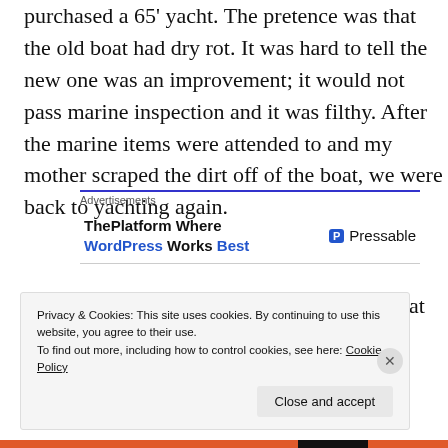purchased a 65' yacht. The pretence was that the old boat had dry rot. It was hard to tell the new one was an improvement; it would not pass marine inspection and it was filthy. After the marine items were attended to and my mother scraped the dirt off of the boat, we were back to yachting again.
[Figure (other): Advertisement block for Pressable WordPress hosting with blue header bar. Contains 'ThePlatform Where WordPress Works Best' text and Pressable logo.]
Probably our most memorable episode in that boat was on a return from the Bahamas. We were at the Chubb
Privacy & Cookies: This site uses cookies. By continuing to use this website, you agree to their use.
To find out more, including how to control cookies, see here: Cookie Policy
Close and accept